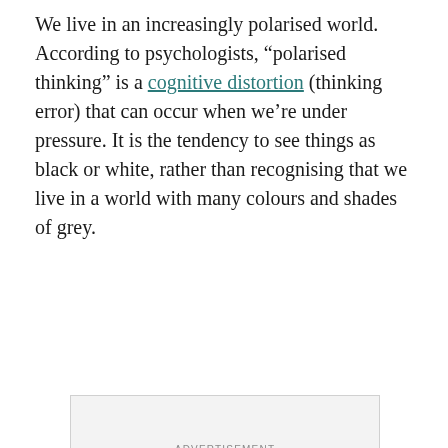We live in an increasingly polarised world. According to psychologists, “polarised thinking” is a cognitive distortion (thinking error) that can occur when we’re under pressure. It is the tendency to see things as black or white, rather than recognising that we live in a world with many colours and shades of grey.
[Figure (other): Advertisement placeholder box with image icon and ADVERTISEMENT label]